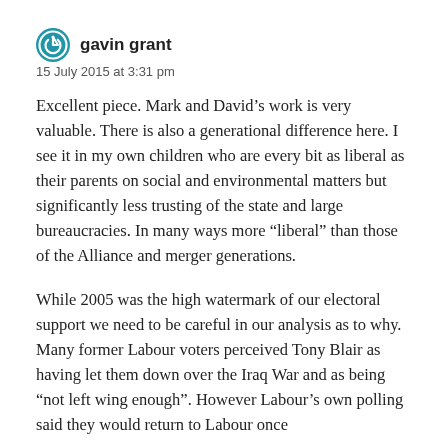gavin grant
15 July 2015 at 3:31 pm
Excellent piece. Mark and David’s work is very valuable. There is also a generational difference here. I see it in my own children who are every bit as liberal as their parents on social and environmental matters but significantly less trusting of the state and large bureaucracies. In many ways more “liberal” than those of the Alliance and merger generations.
While 2005 was the high watermark of our electoral support we need to be careful in our analysis as to why. Many former Labour voters perceived Tony Blair as having let them down over the Iraq War and as being “not left wing enough”. However Labour’s own polling said they would return to Labour once